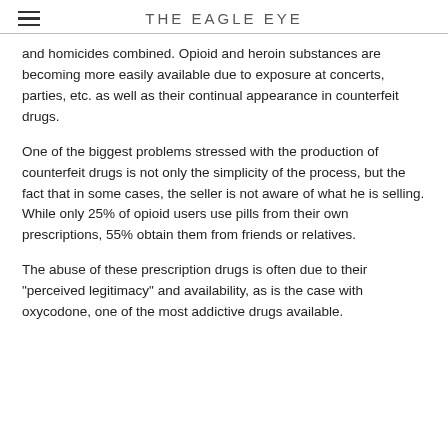THE EAGLE EYE
and homicides combined. Opioid and heroin substances are becoming more easily available due to exposure at concerts, parties, etc. as well as their continual appearance in counterfeit drugs.
One of the biggest problems stressed with the production of counterfeit drugs is not only the simplicity of the process, but the fact that in some cases, the seller is not aware of what he is selling. While only 25% of opioid users use pills from their own prescriptions, 55% obtain them from friends or relatives.
The abuse of these prescription drugs is often due to their "perceived legitimacy" and availability, as is the case with oxycodone, one of the most addictive drugs available.